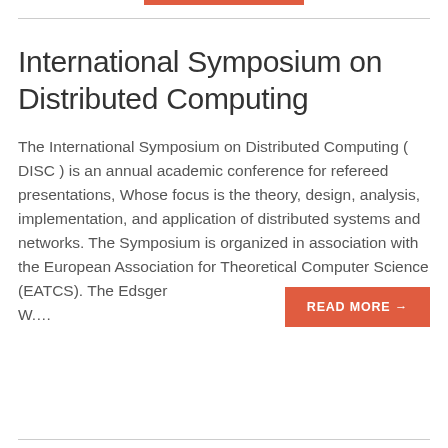International Symposium on Distributed Computing
The International Symposium on Distributed Computing ( DISC ) is an annual academic conference for refereed presentations, Whose focus is the theory, design, analysis, implementation, and application of distributed systems and networks. The Symposium is organized in association with the European Association for Theoretical Computer Science (EATCS). The Edsger W.... READ MORE →